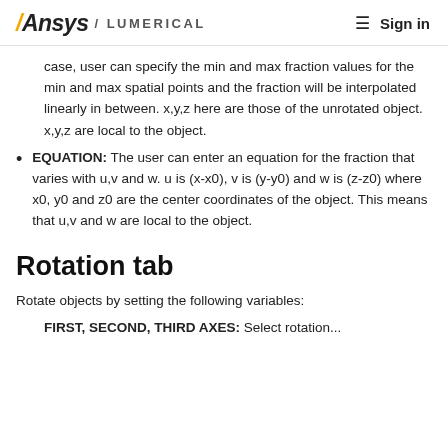Ansys / LUMERICAL   ☰ Sign in
case, user can specify the min and max fraction values for the min and max spatial points and the fraction will be interpolated linearly in between. x,y,z here are those of the unrotated object. x,y,z are local to the object.
EQUATION: The user can enter an equation for the fraction that varies with u,v and w. u is (x-x0), v is (y-y0) and w is (z-z0) where x0, y0 and z0 are the center coordinates of the object. This means that u,v and w are local to the object.
Rotation tab
Rotate objects by setting the following variables:
FIRST, SECOND, THIRD AXES: Select rotation...